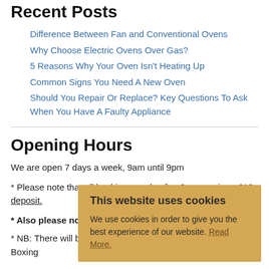Recent Posts
Difference Between Fan and Conventional Ovens
Why Choose Electric Ovens Over Gas?
5 Reasons Why Your Oven Isn't Heating Up
Common Signs You Need A New Oven
Should You Repair Or Replace? Key Questions To Ask When You Have A Faulty Appliance
Opening Hours
We are open 7 days a week, 9am until 9pm
* Please note that all bookings made after 6pm require a £10 deposit.
* Also please note that there will be a £25 charge.
This website uses cookies
We use cookies in order to give you the best experience of our website. Read More.
* NB: There will be a call out charge for Christmas day, Boxing